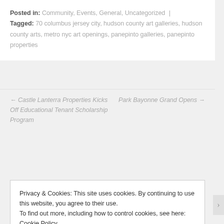Posted in: Community, Events, General, Uncategorized | Tagged: 70 columbus jersey city, hudson county art galleries, hudson county arts, metro nyc art openings, panepinto galleries, panepinto properties
← Castle Lanterra Properties Kicks Off Educational Tenant Scholarship Program
Park Bayonne Grand Opens →
Privacy & Cookies: This site uses cookies. By continuing to use this website, you agree to their use. To find out more, including how to control cookies, see here: Cookie Policy
Close and accept